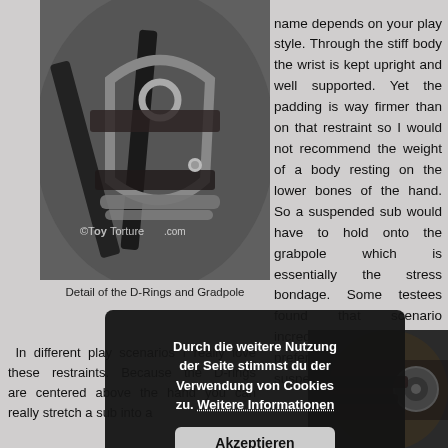[Figure (photo): Close-up detail photograph of D-rings and leather straps with metal hardware, possibly a bondage restraint device. Watermark: ©ToyTorture.com]
Detail of the D-Rings and Gradpole
name depends on your play style. Through the stiff body the wrist is kept upright and well supported. Yet the padding is way firmer than on that restraint so I would not recommend the weight of a body resting on the lower bones of the hand. So a suspended sub would have to hold onto the grabpole which is essentially the stress bondage. Some testees found that scenario incredibly hot! Personally I prefer the 4 buckle [link] for suspension.
In different play scenarios I really love these restraints. Because the D-rings are centered above the hand you can really stretch a sub into a
[Figure (photo): Partial photo of dark leather restraint equipment, bottom right of page]
Durch die weitere Nutzung der Seite stimmst du der Verwendung von Cookies zu. Weitere Informationen
Akzeptieren